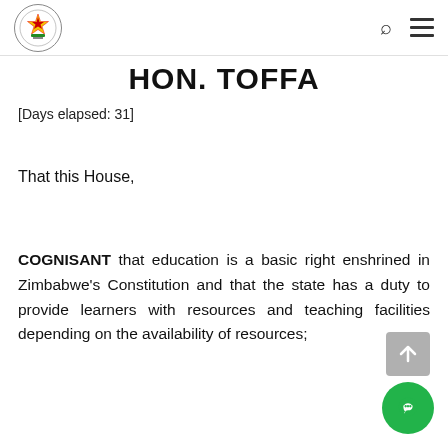Parliament of Zimbabwe logo, search icon, menu icon
HON. TOFFA
[Days elapsed: 31]
That this House,
COGNISANT that education is a basic right enshrined in Zimbabwe's Constitution and that the state has a duty to provide learners with resources and teaching facilities depending on the availability of resources;